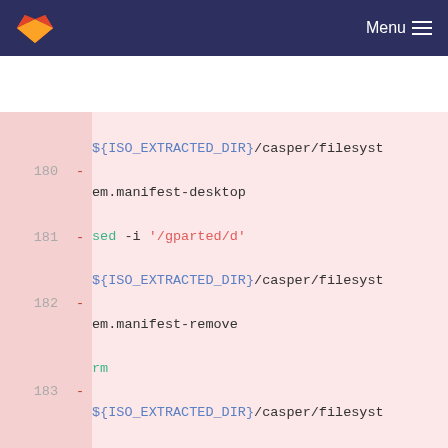GitLab Menu
[Figure (screenshot): GitLab code diff view showing shell script lines 180-185 with removed lines (red background). Lines show sed, rm, mksquashfs, printf commands operating on ISO_EXTRACTED_DIR and SQUASHFS_EXTRACTED_DIR variables.]